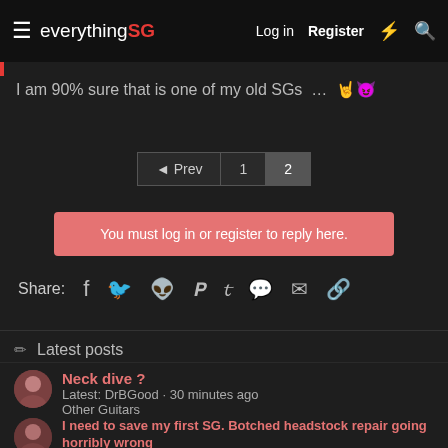everything SG   Log in   Register
I am 90% sure that is one of my old SGs ... 🤘😈
◄ Prev  1  2
You must log in or register to reply here.
Share:
Latest posts
Neck dive ?
Latest: DrBGood · 30 minutes ago
Other Guitars
I need to save my first SG. Botched headstock repair going horribly wrong
Latest: DrBGood · 31 minutes ago